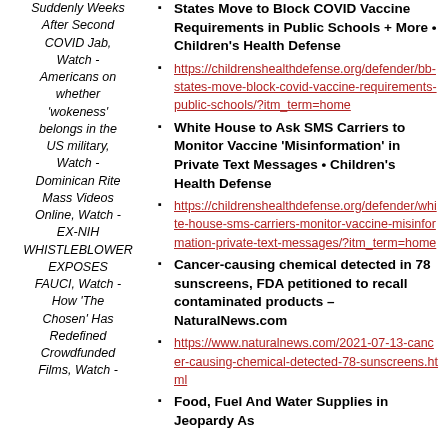Suddenly Weeks After Second COVID Jab, Watch - Americans on whether 'wokeness' belongs in the US military, Watch - Dominican Rite Mass Videos Online, Watch - EX-NIH WHISTLEBLOWER EXPOSES FAUCI, Watch - How 'The Chosen' Has Redefined Crowdfunded Films, Watch -
States Move to Block COVID Vaccine Requirements in Public Schools + More • Children's Health Defense
https://childrenshealthdefense.org/defender/bb-states-move-block-covid-vaccine-requirements-public-schools/?itm_term=home
White House to Ask SMS Carriers to Monitor Vaccine 'Misinformation' in Private Text Messages • Children's Health Defense
https://childrenshealthdefense.org/defender/white-house-sms-carriers-monitor-vaccine-misinformation-private-text-messages/?itm_term=home
Cancer-causing chemical detected in 78 sunscreens, FDA petitioned to recall contaminated products – NaturalNews.com
https://www.naturalnews.com/2021-07-13-cancer-causing-chemical-detected-78-sunscreens.html
Food, Fuel And Water Supplies in Jeopardy As